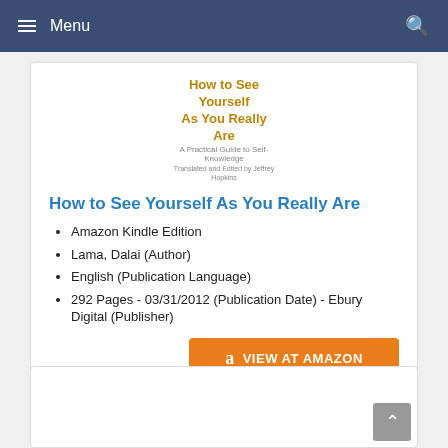Menu
[Figure (illustration): Book cover thumbnail for 'How to See Yourself As You Really Are' by Dalai Lama, translated by Jeffrey Hopkins]
How to See Yourself As You Really Are
Amazon Kindle Edition
Lama, Dalai (Author)
English (Publication Language)
292 Pages - 03/31/2012 (Publication Date) - Ebury Digital (Publisher)
VIEW AT AMAZON
NO. 6